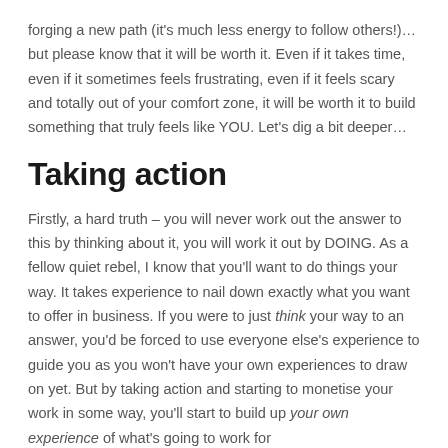forging a new path (it's much less energy to follow others!)… but please know that it will be worth it. Even if it takes time, even if it sometimes feels frustrating, even if it feels scary and totally out of your comfort zone, it will be worth it to build something that truly feels like YOU. Let's dig a bit deeper…
Taking action
Firstly, a hard truth – you will never work out the answer to this by thinking about it, you will work it out by DOING. As a fellow quiet rebel, I know that you'll want to do things your way. It takes experience to nail down exactly what you want to offer in business. If you were to just think your way to an answer, you'd be forced to use everyone else's experience to guide you as you won't have your own experiences to draw on yet. But by taking action and starting to monetise your work in some way, you'll start to build up your own experience of what's going to work for